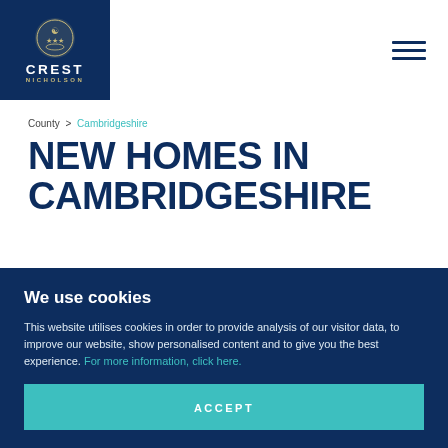[Figure (logo): Crest Nicholson logo on dark navy background with gold emblem]
County > Cambridgeshire
NEW HOMES IN CAMBRIDGESHIRE
We use cookies
This website utilises cookies in order to provide analysis of our visitor data, to improve our website, show personalised content and to give you the best experience. For more information, click here.
ACCEPT